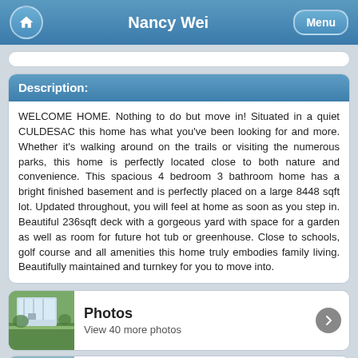Nancy Wei
Description:
WELCOME HOME. Nothing to do but move in! Situated in a quiet CULDESAC this home has what you've been looking for and more. Whether it's walking around on the trails or visiting the numerous parks, this home is perfectly located close to both nature and convenience. This spacious 4 bedroom 3 bathroom home has a bright finished basement and is perfectly placed on a large 8448 sqft lot. Updated throughout, you will feel at home as soon as you step in. Beautiful 236sqft deck with a gorgeous yard with space for a garden as well as room for future hot tub or greenhouse. Close to schools, golf course and all amenities this home truly embodies family living. Beautifully maintained and turnkey for you to move into.
Photos
View 40 more photos
Virtual Tour